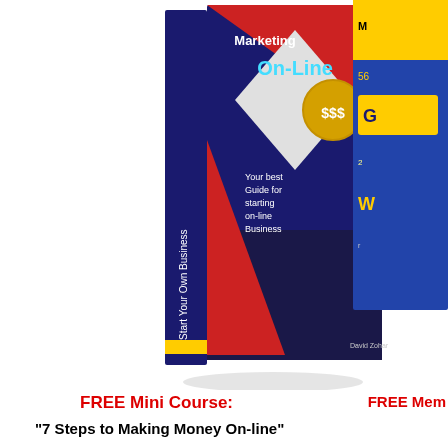[Figure (illustration): 3D book cover: 'Marketing On-Line' with '$$$' coin graphic, blue spine reading 'Start Your Own Business', red and gray panels, text 'Your best Guide for starting on-line Business', author David Zohar]
[Figure (illustration): Partial view of another book/product on the right edge, yellow and blue colors partially visible]
FREE Mini Course:
FREE Mem
"7 Steps to Making Money On-line"
You will also get access to an ocean of marketing ebooks and tutorials that you can see below
[Figure (illustration): 3D book cover: 'Beginners Guide To Online Fortunes' in green and yellow with image of two people celebrating]
The Simple And Easy Guide T Online Business ASAP…Tha Earns You A Constant Monthl